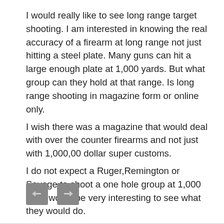I would really like to see long range target shooting. I am interested in knowing the real accuracy of a firearm at long range not just hitting a steel plate. Many guns can hit a large enough plate at 1,000 yards. But what group can they hold at that range. Is long range shooting in magazine form or online only.
I wish there was a magazine that would deal with over the counter firearms and not just with 1,000,00 dollar super customs.
I do not expect a Ruger,Remington or Savage to shoot a one hole group at 1,000 but it would be very interesting to see what they would do.